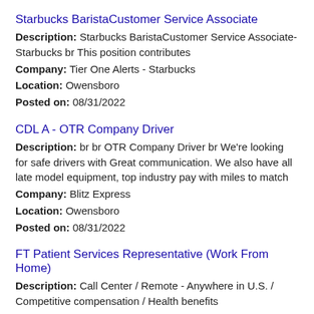Starbucks BaristaCustomer Service Associate
Description: Starbucks BaristaCustomer Service Associate-Starbucks br This position contributes
Company: Tier One Alerts - Starbucks
Location: Owensboro
Posted on: 08/31/2022
CDL A - OTR Company Driver
Description: br br OTR Company Driver br We're looking for safe drivers with Great communication. We also have all late model equipment, top industry pay with miles to match
Company: Blitz Express
Location: Owensboro
Posted on: 08/31/2022
FT Patient Services Representative (Work From Home)
Description: Call Center / Remote - Anywhere in U.S. / Competitive compensation / Health benefits
Company: Change Healthcare
Location: Owensboro
Posted on: 08/31/2022
Regional Drivers CDL A $2K Sign-On Bonus, NEW PAY